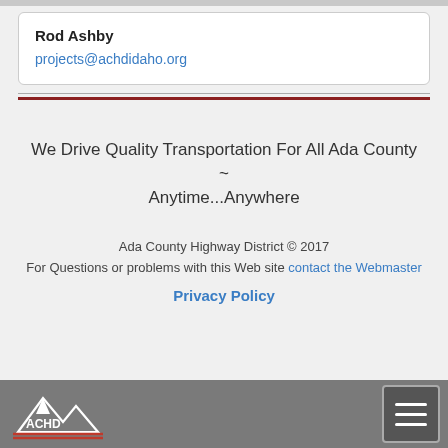Rod Ashby
projects@achdidaho.org
We Drive Quality Transportation For All Ada County ~ Anytime...Anywhere
Ada County Highway District © 2017
For Questions or problems with this Web site contact the Webmaster
Privacy Policy
ACHD logo and navigation menu